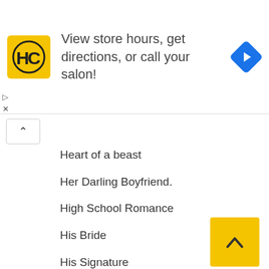[Figure (screenshot): Ad banner for Hair Club showing logo, text 'View store hours, get directions, or call your salon!' and a blue navigation arrow icon]
Heart of a beast
Her Darling Boyfriend.
High School Romance
His Bride
His Signature
Honey moon
Hospital Romance
I hate to love him
I Sold my V
In Love With An Hijabite
Legend Of The Blue Sea